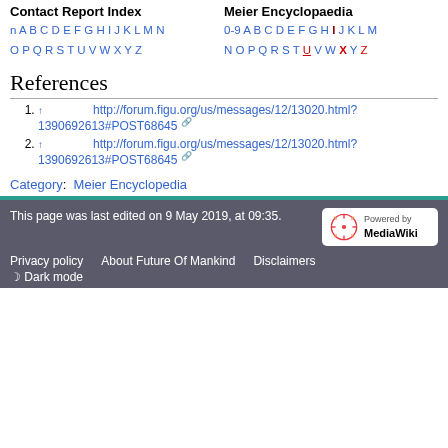Contact Report Index | Meier Encyclopaedia
n A B C D E F G H I J K L M N O P Q R S T U V W X Y Z
0-9 A B C D E F G H I J K L M N O P Q R S T U V W X Y Z
References
1. ↑ http://forum.figu.org/us/messages/12/13020.html?1390692613#POST68645
2. ↑ http://forum.figu.org/us/messages/12/13020.html?1390692613#POST68645
Category: Meier Encyclopedia
This page was last edited on 9 May 2019, at 09:35. Privacy policy About Future Of Mankind Disclaimers Dark mode